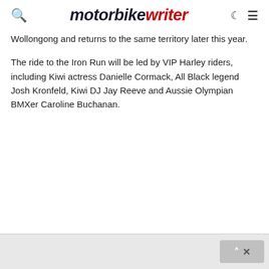motorbike writer
Wollongong and returns to the same territory later this year.
The ride to the Iron Run will be led by VIP Harley riders, including Kiwi actress Danielle Cormack, All Black legend Josh Kronfeld, Kiwi DJ Jay Reeve and Aussie Olympian BMXer Caroline Buchanan.